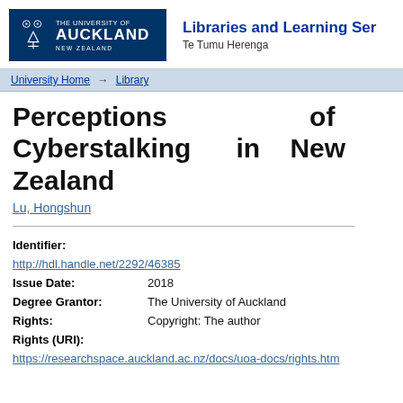[Figure (logo): University of Auckland Libraries and Learning Services logo with crest and blue header]
University Home → Library
Perceptions of Cyberstalking in New Zealand
Lu, Hongshun
| Field | Value |
| --- | --- |
| Identifier: | http://hdl.handle.net/2292/46385 |
| Issue Date: | 2018 |
| Degree Grantor: | The University of Auckland |
| Rights: | Copyright: The author |
| Rights (URI): | https://researchspace.auckland.ac.nz/docs/uoa-docs/rights.htm |